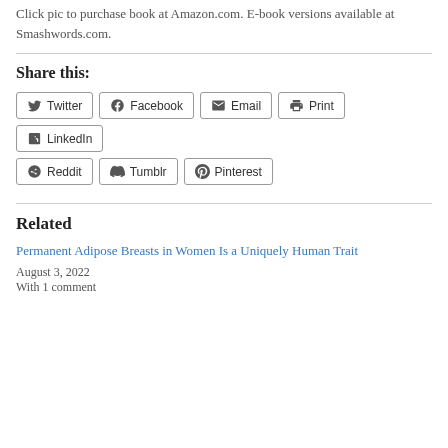Click pic to purchase book at Amazon.com. E-book versions available at Smashwords.com.
Share this:
Twitter
Facebook
Email
Print
LinkedIn
Reddit
Tumblr
Pinterest
Related
Permanent Adipose Breasts in Women Is a Uniquely Human Trait
August 3, 2022
With 1 comment